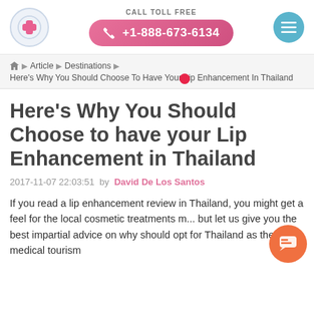CALL TOLL FREE +1-888-673-6134
Article ▶ Destinations ▶ Here's Why You Should Choose To Have Your Lip Enhancement In Thailand
Here's Why You Should Choose to have your Lip Enhancement in Thailand
2017-11-07 22:03:51 by David De Los Santos
If you read a lip enhancement review in Thailand, you might get a feel for the local cosmetic treatments m... but let us give you the best impartial advice on why should opt for Thailand as the ideal medical tourism